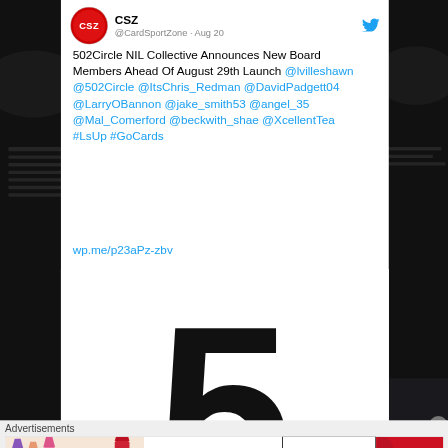[Figure (screenshot): Twitter/X post by @CardSportZone (CSZ) dated Aug 20 about 502Circle NIL Collective announcing new board members, with a large stylized '5' image, and a M·A·C cosmetics advertisement banner at the bottom.]
CSZ @CardSportZone · Aug 20
502Circle NIL Collective Announces New Board Members Ahead Of August 29th Launch @lvilleshawn @502Circle @ItsChris_Redman @DavidPadgett04 @LarryOBannon @jake_smith53 @angel_35 @Mal_Comerford @beckwith_shae @XcellentTea #LsUp #GoCards
wp.me/p23aPz-zbv
Advertisements